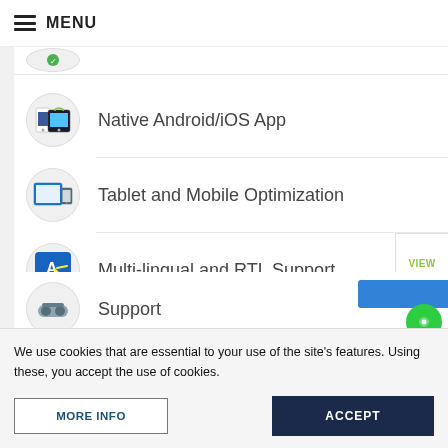MENU
Native Android/iOS App
Tablet and Mobile Optimization
Multi-lingual and RTL Support
Real-time Synchronization
Support
We use cookies that are essential to your use of the site's features. Using these, you accept the use of cookies.
MORE INFO
ACCEPT